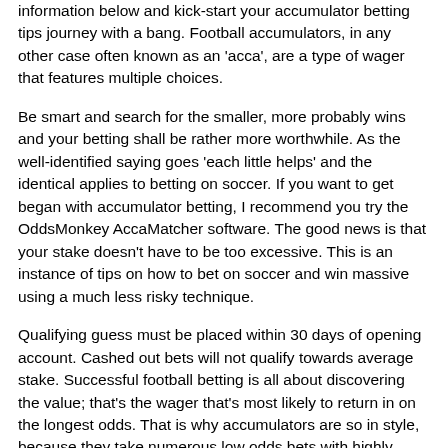information below and kick-start your accumulator betting tips journey with a bang. Football accumulators, in any other case often known as an 'acca', are a type of wager that features multiple choices.
Be smart and search for the smaller, more probably wins and your betting shall be rather more worthwhile. As the well-identified saying goes 'each little helps' and the identical applies to betting on soccer. If you want to get began with accumulator betting, I recommend you try the OddsMonkey AccaMatcher software. The good news is that your stake doesn't have to be too excessive. This is an instance of tips on how to bet on soccer and win massive using a much less risky technique.
Qualifying guess must be placed within 30 days of opening account. Cashed out bets will not qualify towards average stake. Successful football betting is all about discovering the value; that's the wager that's most likely to return in on the longest odds. That is why accumulators are so in style, because they take numerous low odds bets with highly probably outcomes and [link] mix them right into